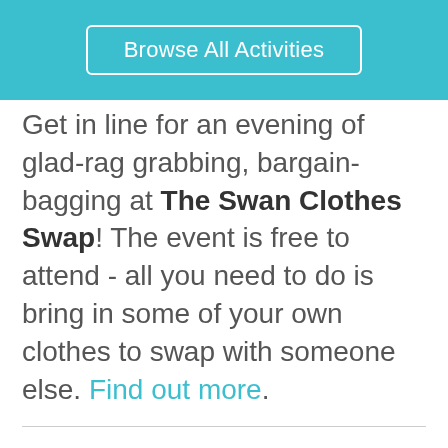Browse All Activities
Get in line for an evening of glad-rag grabbing, bargain-bagging at The Swan Clothes Swap! The event is free to attend - all you need to do is bring in some of your own clothes to swap with someone else. Find out more.
Fly2Help Easter Quiz is the perfect way to have a good time while supporting charity. Hop along to The Flying Shack, where food and fun will be plentiful - all for a good cause! Find